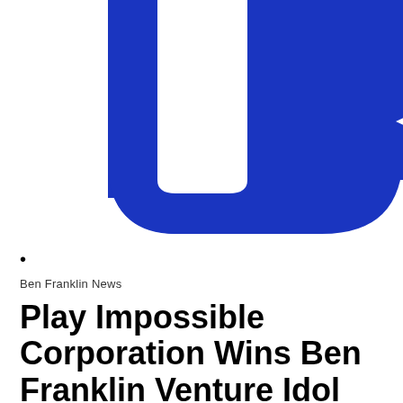[Figure (logo): Blue rounded square YouTube-style play button logo, cropped at top showing lower portion of blue shape with white right-pointing triangle/arrow]
•
Ben Franklin News
Play Impossible Corporation Wins Ben Franklin Venture Idol